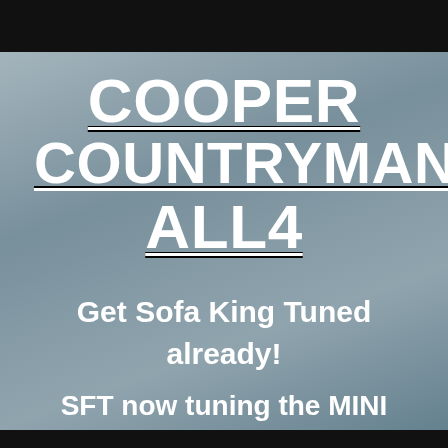COOPER COUNTRYMAN ALL4
Get Sofa King Tuned already!
SFT now tuning the MINI